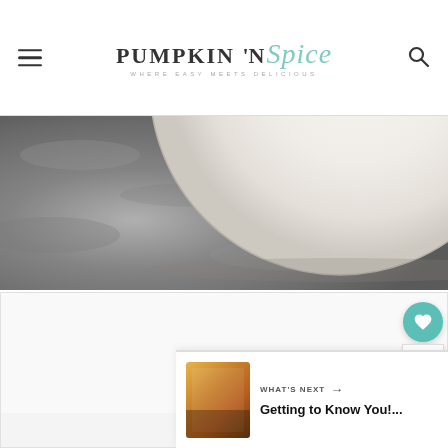PUMPKIN 'N Spice — WHERE EASY MEETS DELICIOUS
[Figure (photo): Close-up photo of a round ball of dough or pastry on a grey/stone textured surface, showing smooth pale dough against rough dark stone background]
[Figure (photo): Partial view of another food photo, appears to be a second image in a slideshow, mostly white with navigation dots below]
What's Next → Getting to Know You!...